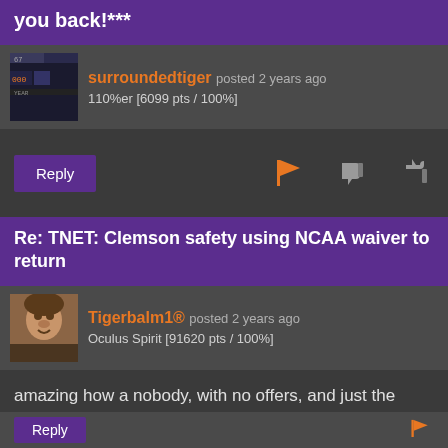you back!***
surroundedtiger posted 2 years ago
110%er [6099 pts / 100%]
Reply
Re: TNET: Clemson safety using NCAA waiver to return
Tigerbalm1® posted 2 years ago
Oculus Spirit [91620 pts / 100%]
amazing how a nobody, with no offers, and just the support of his coaches and the desire to make his deceased father proud, was able to make second-team all America at safety.
I had no idea he won that award. Absolutely inpsiring.